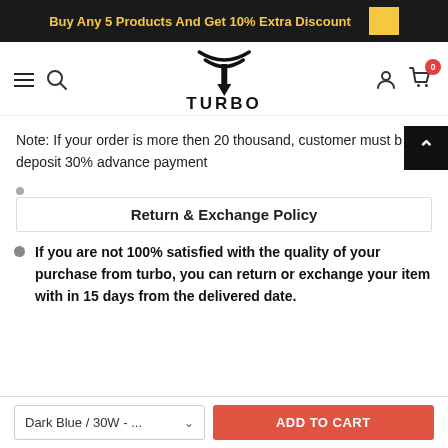Buy Any 5 Products And Get 10% Extra Discount
[Figure (logo): Turbo brand logo with stylized T icon and TURBO text]
Note: If your order is more then 20 thousand, customer must be deposit 30% advance payment
Return & Exchange Policy
If you are not 100% satisfied with the quality of your purchase from turbo, you can return or exchange your item with in 15 days from the delivered date.
Dark Blue / 30W - ...  ADD TO CART